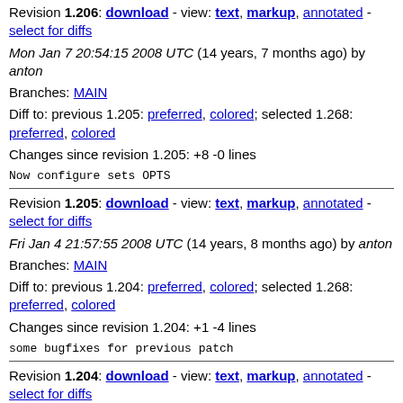Revision 1.206: download - view: text, markup, annotated - select for diffs
Mon Jan 7 20:54:15 2008 UTC (14 years, 7 months ago) by anton
Branches: MAIN
Diff to: previous 1.205: preferred, colored; selected 1.268: preferred, colored
Changes since revision 1.205: +8 -0 lines
Now configure sets OPTS
Revision 1.205: download - view: text, markup, annotated - select for diffs
Fri Jan 4 21:57:55 2008 UTC (14 years, 8 months ago) by anton
Branches: MAIN
Diff to: previous 1.204: preferred, colored; selected 1.268: preferred, colored
Changes since revision 1.204: +1 -4 lines
some bugfixes for previous patch
Revision 1.204: download - view: text, markup, annotated - select for diffs
Fri Jan 4 21:48:53 2008 UTC (14 years, 8 months ago) by anton
Branches: MAIN
Diff to: previous 1.203: preferred, colored; selected 1.268: preferred, colored